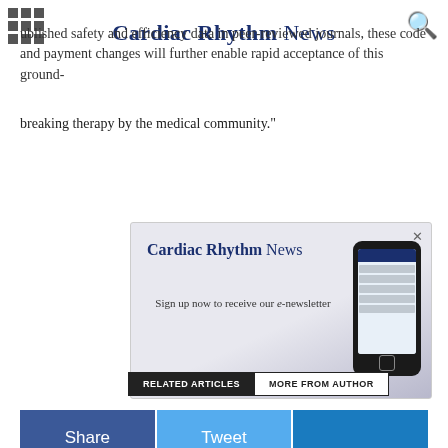Cardiac Rhythm News
published safety and efficacy data in peer-reviewed journals, these code and payment changes will further enable rapid acceptance of this groundbreaking therapy by the medical community."
[Figure (screenshot): Cardiac Rhythm News newsletter sign-up advertisement banner with phone mockup. Text reads: 'Cardiac Rhythm News – Sign up now to receive our e-newsletter']
Share
Tweet
RELATED ARTICLES
MORE FROM AUTHOR